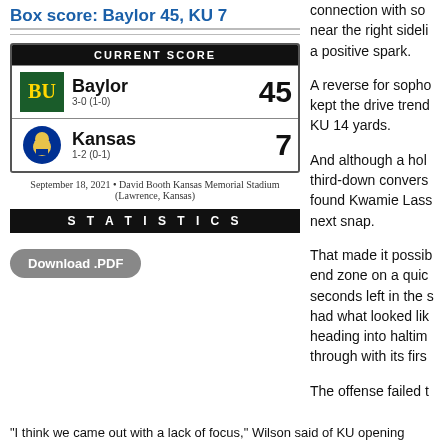Box score: Baylor 45, KU 7
[Figure (infographic): Current score scoreboard showing Baylor 45, Kansas 7. Baylor record 3-0 (1-0), Kansas record 1-2 (0-1). September 18, 2021, David Booth Kansas Memorial Stadium, Lawrence, Kansas.]
September 18, 2021 • David Booth Kansas Memorial Stadium (Lawrence, Kansas)
[Figure (infographic): Statistics header bar (black bar with STATISTICS text)]
Download .PDF
connection with so... near the right sideli... a positive spark.
A reverse for sopho... kept the drive trend... KU 14 yards.
And although a hol... third-down convers... found Kwamie Lass... next snap.
That made it possib... end zone on a quic... seconds left in the s... had what looked lik... heading into haltim... through with its firs...
The offense failed t...
"I think we came out with a lack of focus," Wilson said of KU opening...